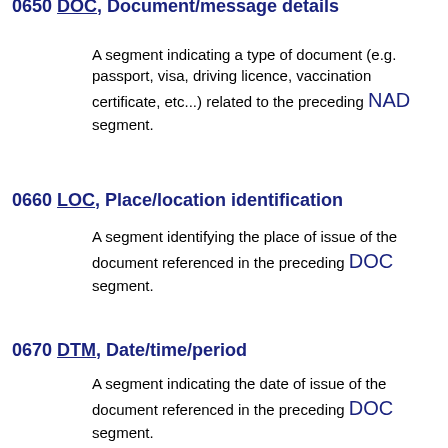0650 DOC, Document/message details
A segment indicating a type of document (e.g. passport, visa, driving licence, vaccination certificate, etc...) related to the preceding NAD segment.
0660 LOC, Place/location identification
A segment identifying the place of issue of the document referenced in the preceding DOC segment.
0670 DTM, Date/time/period
A segment indicating the date of issue of the document referenced in the preceding DOC segment.
0680 Segment Group 13: PAI-PAT-FII-MOA-RFF
A group of segments providing payment information, payment terms, financial